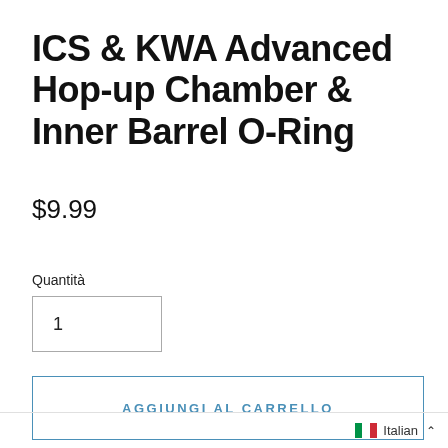ICS & KWA Advanced Hop-up Chamber & Inner Barrel O-Ring
$9.99
Quantità
1
AGGIUNGI AL CARRELLO
Italian